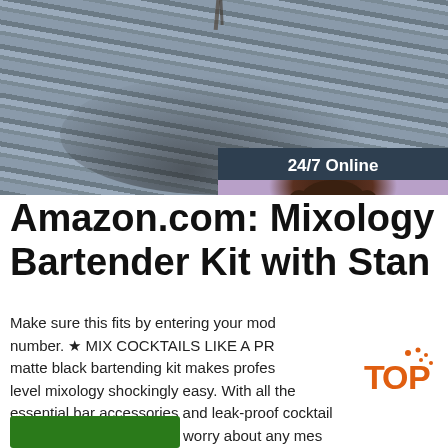[Figure (photo): Photo of steel rebar rods bundled together, with a person's shadow visible. A customer service chat widget overlay shows a female agent with headset, '24/7 Online' header, 'Click here for free chat!' text, and an orange QUOTATION button.]
Amazon.com: Mixology Bartender Kit with Stan
Make sure this fits by entering your model number. ★ MIX COCKTAILS LIKE A PRO matte black bartending kit makes professional-level mixology shockingly easy. With all the essential bar accessories and leak-proof cocktail shaker, you won't have to worry about any mess, spillage, or getting your measurements wrong.